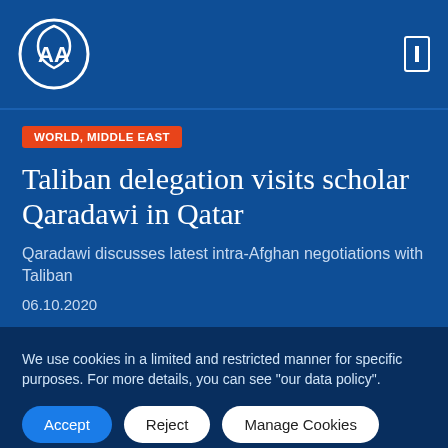AA (Anadolu Agency) logo and navigation
WORLD, MIDDLE EAST
Taliban delegation visits scholar Qaradawi in Qatar
Qaradawi discusses latest intra-Afghan negotiations with Taliban
06.10.2020
We use cookies in a limited and restricted manner for specific purposes. For more details, you can see "our data policy".